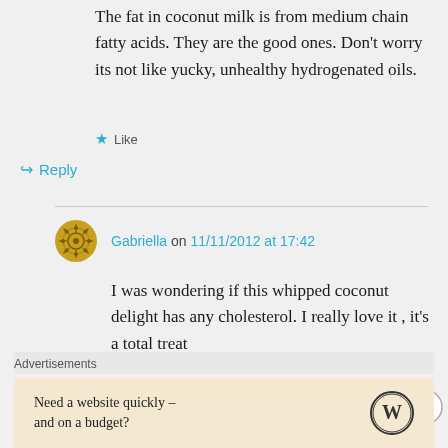The fat in coconut milk is from medium chain fatty acids. They are the good ones. Don't worry its not like yucky, unhealthy hydrogenated oils.
★ Like
↳ Reply
Gabriella on 11/11/2012 at 17:42
I was wondering if this whipped coconut delight has any cholesterol. I really love it , it's a total treat
Advertisements
Need a website quickly – and on a budget?